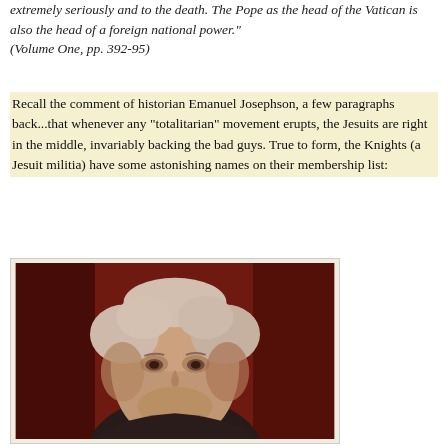extremely seriously and to the death. The Pope as the head of the Vatican is also the head of a foreign national power." (Volume One, pp. 392-95)
Recall the comment of historian Emanuel Josephson, a few paragraphs back...that whenever any "totalitarian" movement erupts, the Jesuits are right in the middle, invariably backing the bad guys. True to form, the Knights (a Jesuit militia) have some astonishing names on their membership list:
[Figure (photo): Portrait painting of an elderly man with white/light hair, wearing a dark jacket and reddish cravat/scarf, painted against a dark red background. Classical oil portrait style.]